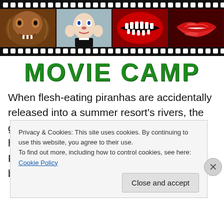[Figure (illustration): Film strip banner with four movie stills: a creature/monster face, Pee-wee Herman, a piranha mouth, and red lips (Rocky Horror). Black film strip sprocket holes top and bottom.]
MOVIE CAMP
When flesh-eating piranhas are accidentally released into a summer resort's rivers, the guests become their next meal in this 1978 horror cheese fest. With the opening of Pirhana 3-D, we thought we'd take a look back in the
Privacy & Cookies: This site uses cookies. By continuing to use this website, you agree to their use.
To find out more, including how to control cookies, see here: Cookie Policy
Close and accept